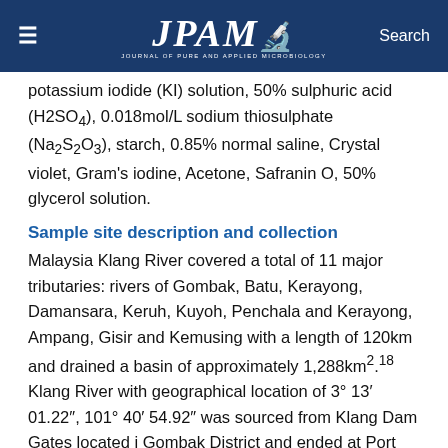JPAM — Journal of Pure and Applied Microbiology
potassium iodide (KI) solution, 50% sulphuric acid (H2SO4), 0.018mol/L sodium thiosulphate (Na2S2O3), starch, 0.85% normal saline, Crystal violet, Gram's iodine, Acetone, Safranin O, 50% glycerol solution.
Sample site description and collection
Malaysia Klang River covered a total of 11 major tributaries: rivers of Gombak, Batu, Kerayong, Damansara, Keruh, Kuyoh, Penchala and Kerayong, Ampang, Gisir and Kemusing with a length of 120km and drained a basin of approximately 1,288km2.18 Klang River with geographical location of 3° 13′ 01.22″, 101° 40′ 54.92″ was sourced from Klang Dam Gates located in Gombak District and ended at Port Klang, the principal